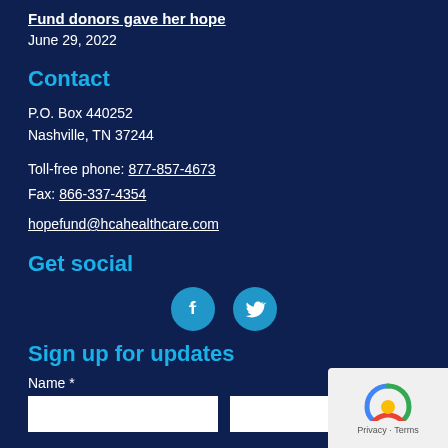Fund donors gave her hope
June 29, 2022
Contact
P.O. Box 440252
Nashville, TN 37244
Toll-free phone: 877-857-4673
Fax: 866-337-4354
hopefund@hcahealthcare.com
Get social
[Figure (infographic): Facebook and Twitter social media icons as circular teal buttons]
Sign up for updates
Name *
[Figure (screenshot): reCAPTCHA widget with Privacy and Terms links]